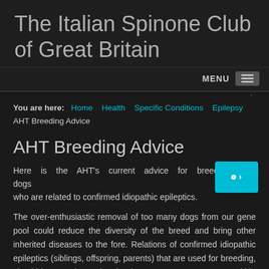The Italian Spinone Club of Great Britain
MENU
You are here: Home / Health / Specific Conditions / Epilepsy / AHT Breeding Advice
AHT Breeding Advice
Here is the AHT's current advice for breeding from dogs who are related to confirmed idiopathic epileptics.
The over-enthusiastic removal of too many dogs from our gene pool could reduce the diversity of the breed and bring other inherited diseases to the fore. Relations of confirmed idiopathic epileptics (siblings, offspring, parents) that are used for breeding, should be mated to a dog that has no common ancestors within 3